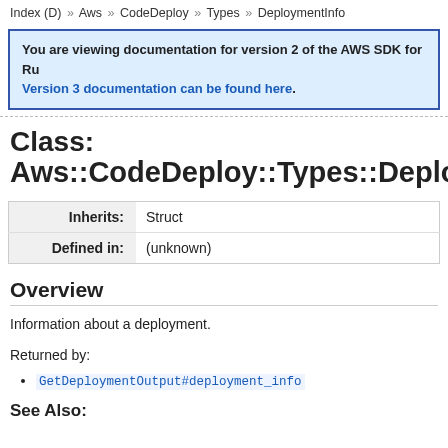Index (D) » Aws » CodeDeploy » Types » DeploymentInfo
You are viewing documentation for version 2 of the AWS SDK for Ru... Version 3 documentation can be found here.
Class: Aws::CodeDeploy::Types::Deployme…
|  |  |
| --- | --- |
| Inherits: | Struct |
| Defined in: | (unknown) |
Overview
Information about a deployment.
Returned by:
GetDeploymentOutput#deployment_info
See Also: